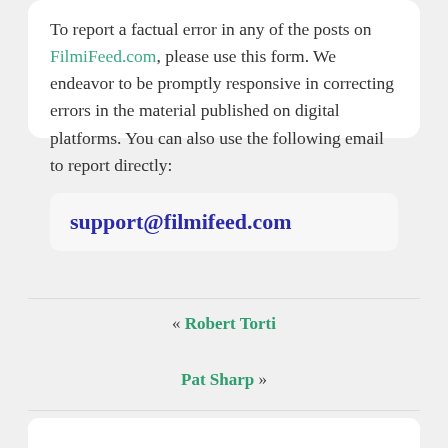To report a factual error in any of the posts on FilmiFeed.com, please use this form. We endeavor to be promptly responsive in correcting errors in the material published on digital platforms. You can also use the following email to report directly:
support@filmifeed.com
« Robert Torti
Pat Sharp »